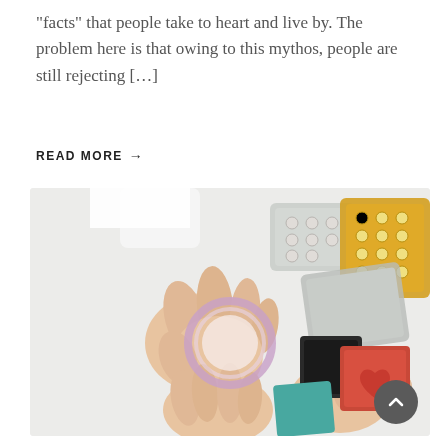“facts” that people take to heart and live by. The problem here is that owing to this mythos, people are still rejecting […]
READ MORE →
[Figure (photo): Overhead view of two people's hands holding a contraceptive ring and various contraceptive items on a white surface, including blister packs of pills in silver and yellow packaging, and square foil packets in black, teal, and red colors.]